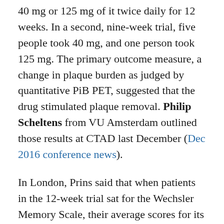40 mg or 125 mg of it twice daily for 12 weeks. In a second, nine-week trial, five people took 40 mg, and one person took 125 mg. The primary outcome measure, a change in plaque burden as judged by quantitative PiB PET, suggested that the drug stimulated plaque removal. Philip Scheltens from VU Amsterdam outlined those results at CTAD last December (Dec 2016 conference news).
In London, Prins said that when patients in the 12-week trial sat for the Wechsler Memory Scale, their average scores for its immediate recall composite increased by 5.7 points at four weeks and by 10 points at the end of the trial, a significant improvement. Delayed recall scores also improved, from 13.2 at baseline to 18.2 and to 22 at four and 12 weeks, respectively. The nine-week trial used the Hopkins Verbal Learning Test-Revised. It also indicated